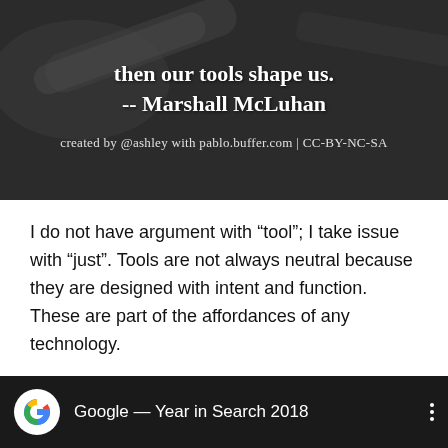[Figure (illustration): Dark-themed image with wrench/tool background showing a quote in white bold text: 'then our tools shape us. -- Marshall McLuhan' with attribution 'created by @ashley with pablo.buffer.com | CC-BY-NC-SA']
I do not have argument with “tool”; I take issue with “just”. Tools are not always neutral because they are designed with intent and function. These are part of the affordances of any technology.
What the layperson might not understand is that while some affordances are designed for and expected, others are negotiated or emergent.
[Figure (screenshot): Google YouTube video thumbnail bar showing Google logo and title 'Google — Year in Search 2018' with three-dot menu on dark background]